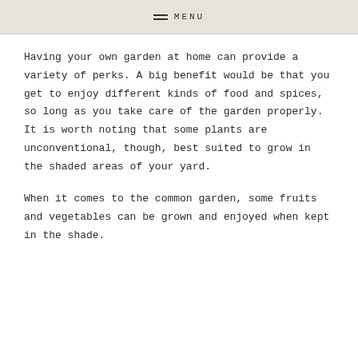MENU
Having your own garden at home can provide a variety of perks. A big benefit would be that you get to enjoy different kinds of food and spices, so long as you take care of the garden properly. It is worth noting that some plants are unconventional, though, best suited to grow in the shaded areas of your yard.
When it comes to the common garden, some fruits and vegetables can be grown and enjoyed when kept in the shade.